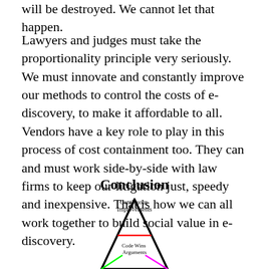will be destroyed. We cannot let that happen.
Lawyers and judges must take the proportionality principle very seriously. We must innovate and constantly improve our methods to control the costs of e-discovery, to make it affordable to all. Vendors have a key role to play in this process of cost containment too. They can and must work side-by-side with law firms to keep our litigation just, speedy and inexpensive. That is how we can all work together to build social value in e-discovery.
Conclusion
[Figure (infographic): Triangle diagram with 'Continuous Improvements' label at the top, a red horizontal line across the middle of the triangle, and 'Code Wins Arguments' text in the lower section. Green and magenta lines extend from the lower portion of the triangle.]